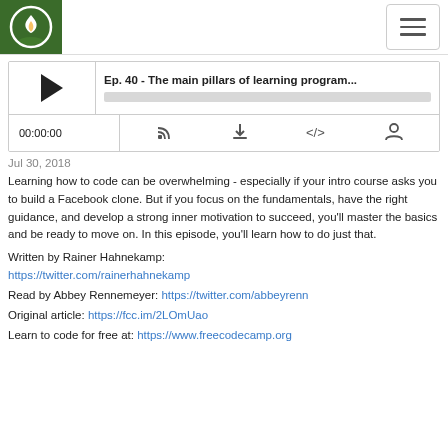freeCodeCamp podcast logo and navigation
[Figure (screenshot): Podcast player widget showing episode 'Ep. 40 - The main pillars of learning program...' with play button, progress bar, time 00:00:00, and control icons for RSS, download, embed, and user]
Jul 30, 2018
Learning how to code can be overwhelming - especially if your intro course asks you to build a Facebook clone. But if you focus on the fundamentals, have the right guidance, and develop a strong inner motivation to succeed, you'll master the basics and be ready to move on. In this episode, you'll learn how to do just that.
Written by Rainer Hahnekamp: https://twitter.com/rainerhahnekamp
Read by Abbey Rennemeyer: https://twitter.com/abbeyrenn
Original article: https://fcc.im/2LOmUao
Learn to code for free at: https://www.freecodecamp.org